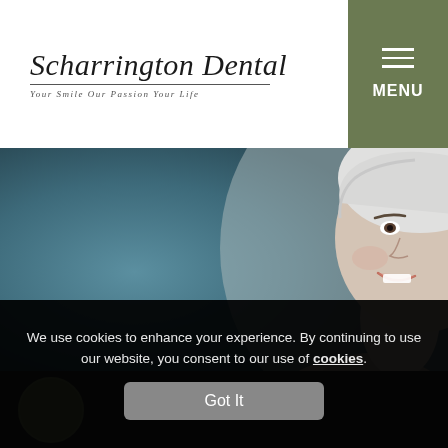[Figure (logo): Scharrington Dental logo with tagline 'Your Smile Our Passion Your Life']
[Figure (other): Hamburger menu icon with MENU label on olive/green background]
[Figure (photo): Smiling middle-aged woman with short white/silver hair against a blue-grey blurred background]
Home » Dentures
We use cookies to enhance your experience. By continuing to use our website, you consent to our use of cookies.
Got It